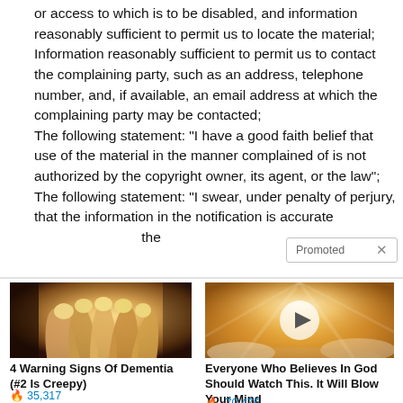or access to which is to be disabled, and information reasonably sufficient to permit us to locate the material; Information reasonably sufficient to permit us to contact the complaining party, such as an address, telephone number, and, if available, an email address at which the complaining party may be contacted; The following statement: “I have a good faith belief that use of the material in the manner complained of is not authorized by the copyright owner, its agent, or the law”; The following statement: “I swear, under penalty of perjury, that the information in the notification is accurate… the
[Figure (screenshot): Promoted ad widget overlay with X close button]
[Figure (photo): Close-up photo of fingernails/hands]
4 Warning Signs Of Dementia (#2 Is Creepy)
🔥 35,317
[Figure (photo): Sunset sky with light rays and clouds, video play button overlay]
Everyone Who Believes In God Should Watch This. It Will Blow Your Mind
🔥 70,476